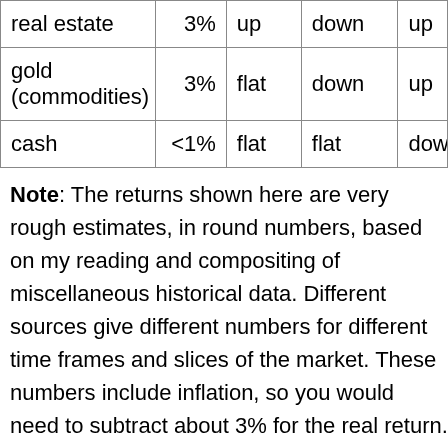|  |  |  |  |  |
| --- | --- | --- | --- | --- |
| real estate | 3% | up | down | up |
| gold (commodities) | 3% | flat | down | up |
| cash | <1% | flat | flat | dow |
Note: The returns shown here are very rough estimates, in round numbers, based on my reading and compositing of miscellaneous historical data. Different sources give different numbers for different time frames and slices of the market. These numbers include inflation, so you would need to subtract about 3% for the real return. Thus real estate and gold have produced minimal real return over the long haul, and cash has lost value! Also, there is no